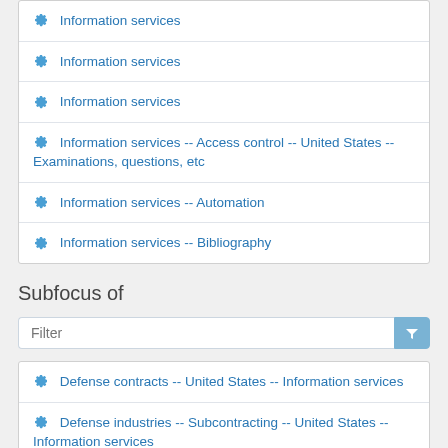Information services
Information services
Information services
Information services -- Access control -- United States -- Examinations, questions, etc
Information services -- Automation
Information services -- Bibliography
Subfocus of
Defense contracts -- United States -- Information services
Defense industries -- Subcontracting -- United States -- Information services
Defense industries -- United States -- Information